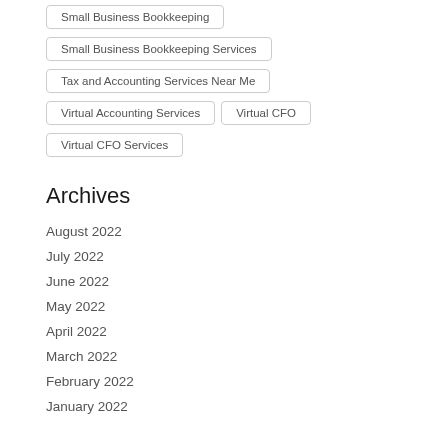Small Business Bookkeeping
Small Business Bookkeeping Services
Tax and Accounting Services Near Me
Virtual Accounting Services
Virtual CFO
Virtual CFO Services
Archives
August 2022
July 2022
June 2022
May 2022
April 2022
March 2022
February 2022
January 2022